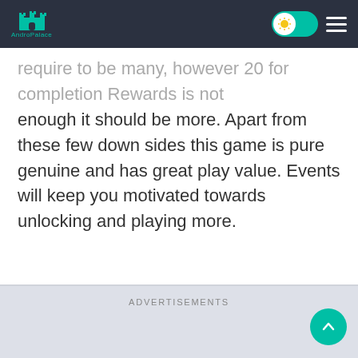AndroPalace
require to be many, however 20 for completion Rewards is not enough it should be more. Apart from these few down sides this game is pure genuine and has great play value. Events will keep you motivated towards unlocking and playing more.
ADVERTISEMENTS